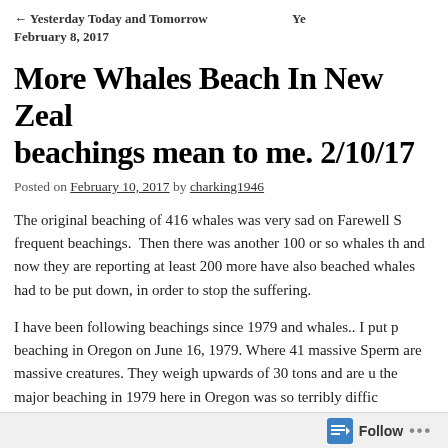← Yesterday Today and Tomorrow February 8, 2017   Ye
More Whales Beach In New Zeal beachings mean to me. 2/10/17
Posted on February 10, 2017 by charking1946
The original beaching of 416 whales was very sad on Farewell S frequent beachings.  Then there was another 100 or so whales th and now they are reporting at least 200 more have also beached whales had to be put down, in order to stop the suffering.
I have been following beachings since 1979 and whales.. I put p beaching in Oregon on June 16, 1979. Where 41 massive Sperm are massive creatures. They weigh upwards of 30 tons and are u the major beaching in 1979 here in Oregon was so terribly diffic anything this terrible could have a silver lining.. It allowed me t
Follow ...